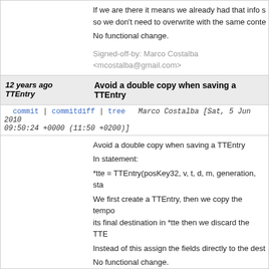If we are there it means we already had that info s so we don't need to overwrite with the same conte
No functional change.
Signed-off-by: Marco Costalba <mcostalba@gmail.com>
12 years ago TTEntry   Avoid a double copy when saving a TTEntry
Marco Costalba [Sat, 5 Jun 2010 09:50:24 +0000 (11:50 +0200)]
Avoid a double copy when saving a TTEntry
In statement:
*tte = TTEntry(posKey32, v, t, d, m, generation, sta
We first create a TTEntry, then we copy the tempo its final destination in *tte then we discard the TTE
Instead of this assign the fields directly to the dest
No functional change.
Signed-off-by: Marco Costalba <mcostalba@gmail.com>